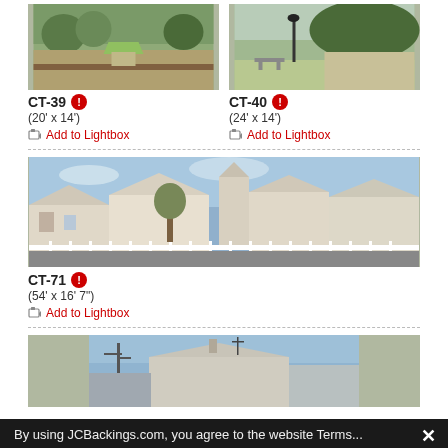[Figure (photo): CT-39 outdoor pavilion/gazebo with green roof among trees]
CT-39 ℹ️
(20' x 14')
Add to Lightbox
[Figure (photo): CT-40 park scene with lamp post and trees]
CT-40 ℹ️
(24' x 14')
Add to Lightbox
[Figure (photo): CT-71 wide panoramic shot of Victorian-style houses and buildings along a street]
CT-71 ℹ️
(54' x 16' 7")
Add to Lightbox
[Figure (photo): Partial view of buildings and utility poles (bottom image, cropped)]
By using JCBackings.com, you agree to the website Terms...